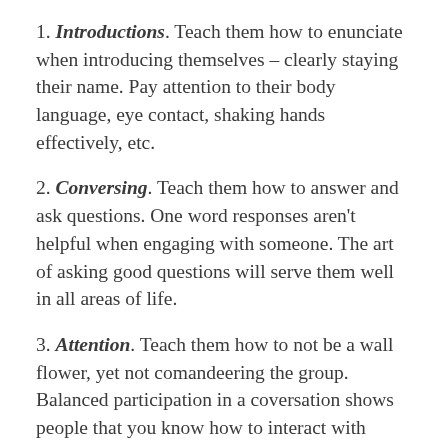1. Introductions. Teach them how to enunciate when introducing themselves – clearly staying their name. Pay attention to their body language, eye contact, shaking hands effectively, etc.
2. Conversing. Teach them how to answer and ask questions. One word responses aren't helpful when engaging with someone. The art of asking good questions will serve them well in all areas of life.
3. Attention. Teach them how to not be a wall flower, yet not comandeering the group. Balanced participation in a coversation shows people that you know how to interact with taking all the attention from everyone else.
4. Receptive. Teach them while not stated here…